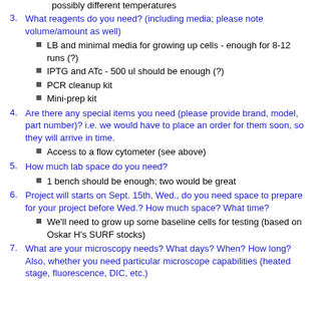possibly different temperatures
3. What reagents do you need? (including media; please note volume/amount as well)
LB and minimal media for growing up cells - enough for 8-12 runs (?)
IPTG and ATc - 500 ul should be enough (?)
PCR cleanup kit
Mini-prep kit
4. Are there any special items you need (please provide brand, model, part number)? i.e. we would have to place an order for them soon, so they will arrive in time.
Access to a flow cytometer (see above)
5. How much lab space do you need?
1 bench should be enough; two would be great
6. Project will starts on Sept. 15th, Wed., do you need space to prepare for your project before Wed.? How much space? What time?
We'll need to grow up some baseline cells for testing (based on Oskar H's SURF stocks)
7. What are your microscopy needs? What days? When? How long? Also, whether you need particular microscope capabilities (heated stage, fluorescence, DIC, etc.)